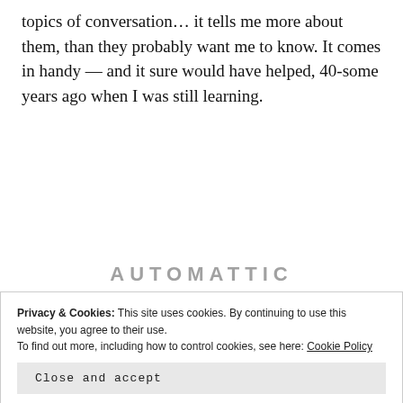topics of conversation… it tells me more about them, than they probably want me to know. It comes in handy — and it sure would have helped, 40-some years ago when I was still learning.
[Figure (logo): Automattic logo text, partially visible, centered]
[Figure (infographic): Automattic job ad: headline 'Build a better web and a better world.' with a blue Apply button and a circular photo of a man in a thinking pose]
Privacy & Cookies: This site uses cookies. By continuing to use this website, you agree to their use.
To find out more, including how to control cookies, see here: Cookie Policy
Close and accept